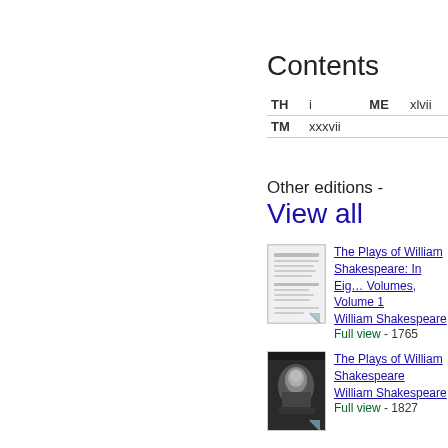Contents
| TH | i | ME | xlvii |
| --- | --- | --- | --- |
| TM | xxxvii |  |  |
Other editions - View all
[Figure (illustration): Thumbnail of book cover for The Plays of William Shakespeare: In Eight Volumes, Volume 1, 1765]
The Plays of William Shakespeare: In Eight Volumes, Volume 1 William Shakespeare Full view - 1765
[Figure (illustration): Thumbnail of book cover for The Plays of William Shakespeare, 1827]
The Plays of William Shakespeare William Shakespeare Full view - 1827